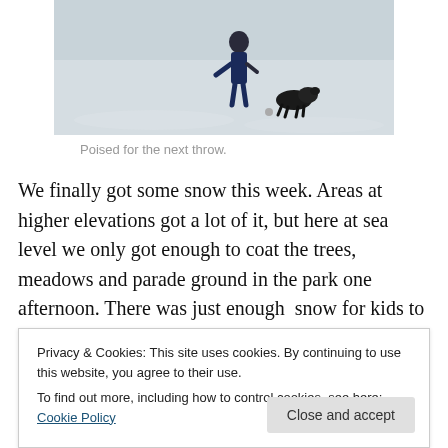[Figure (photo): A person standing in snow with a small dark dog, outdoors in a park or field covered in snow.]
Poised for the next throw.
We finally got some snow this week. Areas at higher elevations got a lot of it, but here at sea level we only got enough to coat the trees, meadows and parade ground in the park one afternoon. There was just enough  snow for kids to sled down the hill below the chapel (a must to
Privacy & Cookies: This site uses cookies. By continuing to use this website, you agree to their use.
To find out more, including how to control cookies, see here: Cookie Policy
we all enjoyed our snowy walk until I took off into a deep